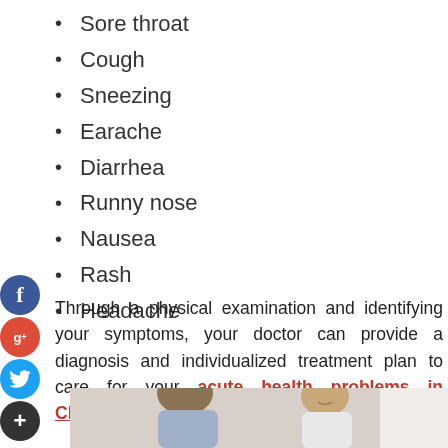Sore throat
Cough
Sneezing
Earache
Diarrhea
Runny nose
Nausea
Rash
Headache
Through a physical examination and identifying your symptoms, your doctor can provide a diagnosis and individualized treatment plan to care for your acute health problems in Charlotte.
[Figure (photo): Two men in a medical office setting — a patient with dark beard and a smiling doctor — during a consultation]